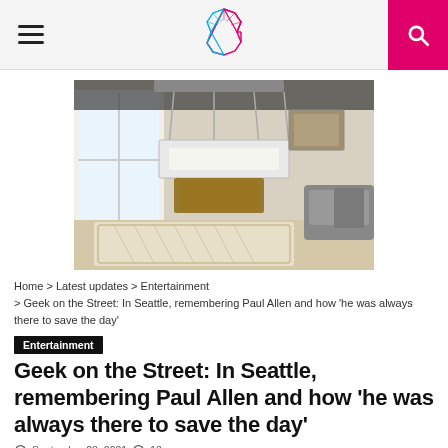[Navigation bar with hamburger menu, C logo, and search button]
[Figure (photo): Interior room photo showing a hanging chandelier/light fixture over a patterned rug, with large windows and a couch visible]
Home > Latest updates > Entertainment > Geek on the Street: In Seattle, remembering Paul Allen and how 'he was always there to save the day'
Entertainment
Geek on the Street: In Seattle, remembering Paul Allen and how 'he was always there to save the day'
September 28, 2021  13